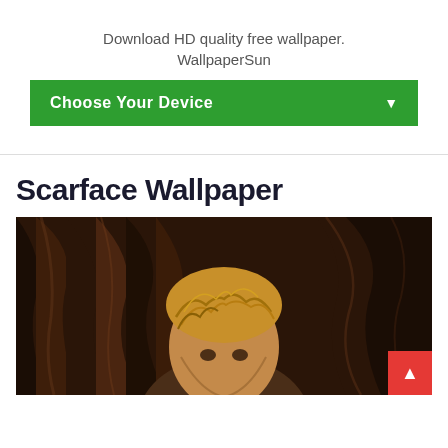Download HD quality free wallpaper.
WallpaperSun
Choose Your Device
Scarface Wallpaper
[Figure (photo): Scarface wallpaper image showing a character with blonde hair against a dark brown background, appears to be a painted/illustrated portrait]